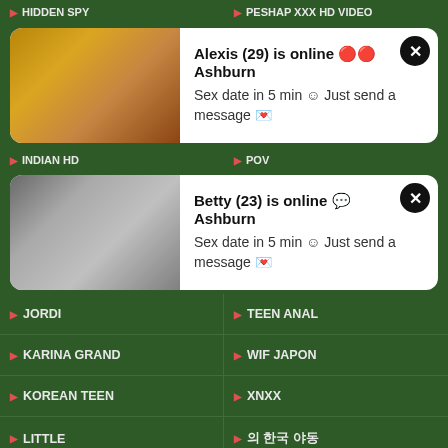▶ HIDDEN SPY
▶ PESHAP XXX HD VIDEO
[Figure (photo): Popup ad card with photo of woman - Alexis (29) is online in Ashburn. Sex date in 5 min. Just send a message.]
▶ INDIAN HD
▶ POV
[Figure (photo): Popup ad card with photo of woman - Betty (23) is online in Ashburn. Sex date in 5 min. Just send a message.]
▶ JORDI
▶ TEEN ANAL
▶ KARINA GRAND
▶ WIF JAPON
▶ KOREAN TEEN
▶ XNXX
▶ LITTLE
▶ 의 한국 야동